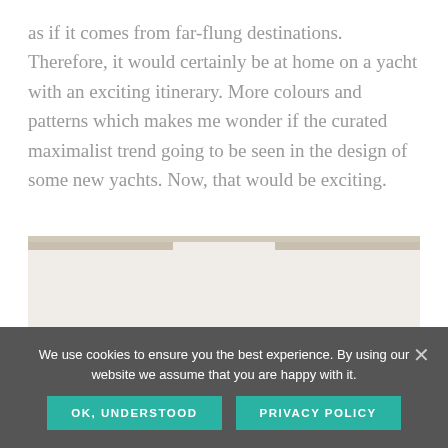as if it comes from far-flung destinations. Therefore, it would certainly be at home on a yacht with an exciting itinerary. More colours and patterns which makes me wonder if the curated maximalist trend going to be seen in the design of some new yachts. Now, that would be exciting.
[Figure (photo): Partially visible image placeholder with light beige/grey background, showing top edge with darker grey bar segments on left and right sides]
We use cookies to ensure you the best experience. By using our website we assume that you are happy with it.
OK, UNDERSTOOD
PRIVACY POLICY